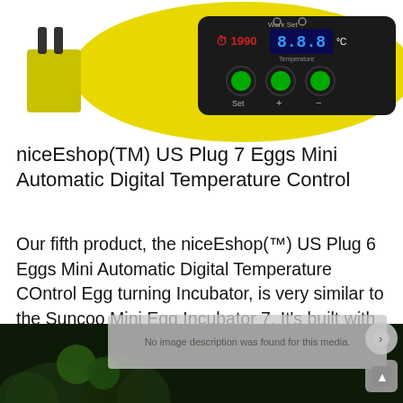[Figure (photo): Yellow egg incubator with black digital temperature control panel showing green buttons and LED display, with a European-style plug visible on the left side.]
niceEshop(TM) US Plug 7 Eggs Mini Automatic Digital Temperature Control
Our fifth product, the niceEshop(™) US Plug 6 Eggs Mini Automatic Digital Temperature COntrol Egg turning Incubator, is very similar to the Suncoo Mini Egg Incubator 7. It's built with the same clear dome for easy viewing, temperature control for ideal incubation, and a water reservoir for humidity.
[Figure (photo): Advertisement banner: forest/Amazon imagery with text 'Just $2 can protect 1 acre of irreplaceable forest homes in the Amazon. How many acres are you willing to protect?' with green 'PROTECT FORESTS NOW' button.]